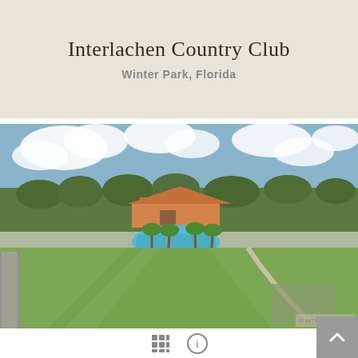Interlachen Country Club
Winter Park, Florida
[Figure (photo): Aerial drone photograph of Interlachen Country Club showing golf course fairways in the foreground, a swimming pool complex with palm trees in the center, club buildings with orange/terracotta roof, surrounded by trees and blue sky with clouds.]
Grid view icon and info icon navigation controls, with scroll-to-top button